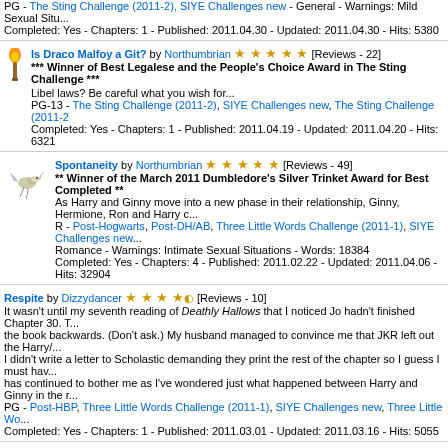PG - The Sting Challenge (2011-2), SIYE Challenges new - General - Warnings: Mild Sexual Situ... Completed: Yes - Chapters: 1 - Published: 2011.04.30 - Updated: 2011.04.30 - Hits: 5380
Is Draco Malfoy a Git? by Northumbrian [Reviews - 22] *** Winner of Best Legalese and the People's Choice Award in The Sting Challenge *** Libel laws? Be careful what you wish for... PG-13 - The Sting Challenge (2011-2), SIYE Challenges new, The Sting Challenge (2011-2) Completed: Yes - Chapters: 1 - Published: 2011.04.19 - Updated: 2011.04.20 - Hits: 6321
Spontaneity by Northumbrian [Reviews - 49] ** Winner of the March 2011 Dumbledore's Silver Trinket Award for Best Completed ** As Harry and Ginny move into a new phase in their relationship, Ginny, Hermione, Ron and Harry c... R - Post-Hogwarts, Post-DH/AB, Three Little Words Challenge (2011-1), SIYE Challenges new... Romance - Warnings: Intimate Sexual Situations - Words: 18384 Completed: Yes - Chapters: 4 - Published: 2011.02.22 - Updated: 2011.04.06 - Hits: 32904
Respite by Dizzydancer [Reviews - 10] It wasn't until my seventh reading of Deathly Hallows that I noticed Jo hadn't finished Chapter 30. T... the book backwards. (Don't ask.) My husband managed to convince me that JKR left out the Harry/... I didn't write a letter to Scholastic demanding they print the rest of the chapter so I guess I must hav... has continued to bother me as I've wondered just what happened between Harry and Ginny in the r... PG - Post-HBP, Three Little Words Challenge (2011-1), SIYE Challenges new, Three Little Wo... Completed: Yes - Chapters: 1 - Published: 2011.03.01 - Updated: 2011.03.16 - Hits: 5055
Tell Her You Love Her by Pilargirl [Reviews - 13] *** Winner of the Luna Prize in the Three Little Words Challenge *** Ginny isn't being herself and everyone, except for Harry, seems to have an idea why. Written fo... PG - Post-Hogwarts, Three Little Words Challenge (2011-1), SIYE Challenges new, Three L... Mild Sexual Situations - Words: 3462 Completed: Yes - Chapters: 1 - Published: 2011.02.28 - Updated: 2011.02.28 - Hits: 7170